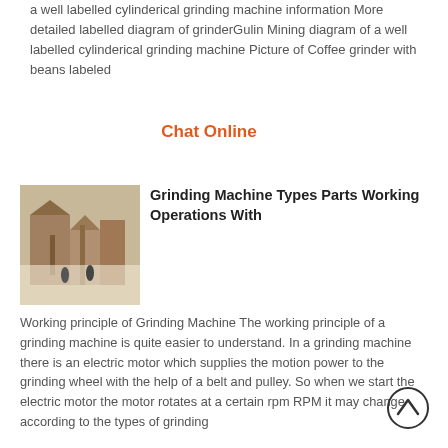a well labelled cylinderical grinding machine information More detailed labelled diagram of grinderGulin Mining diagram of a well labelled cylinderical grinding machine Picture of Coffee grinder with beans labeled
Chat Online
[Figure (photo): Photo of a grinding machine in an industrial setting]
Grinding Machine Types Parts Working Operations With
Working principle of Grinding Machine The working principle of a grinding machine is quite easier to understand. In a grinding machine there is an electric motor which supplies the motion power to the grinding wheel with the help of a belt and pulley. So when we start the electric motor the motor rotates at a certain rpm RPM it may change according to the types of grinding